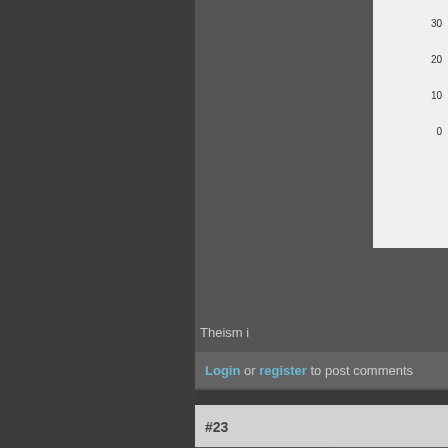[Figure (other): Partial view of a chart with y-axis labels showing 30, 20, 10, 0 on a white background, top-right corner]
Theism i
Login or register to post comments
#23
mellestad
Moderator
Posts: 2929
Joined: 2009-08-19
Offline
I can't s
I can't st
I've neve flames a buys it, v